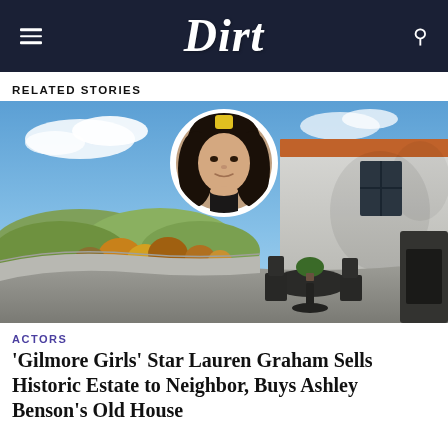Dirt
RELATED STORIES
[Figure (photo): A Spanish-style white stucco home exterior with a terrace featuring a dark metal table and chairs, overlooking a hilly landscape with trees under a blue sky. A circular inset portrait shows Lauren Graham, a woman with dark wavy hair, smiling.]
ACTORS
'Gilmore Girls' Star Lauren Graham Sells Historic Estate to Neighbor, Buys Ashley Benson's Old House